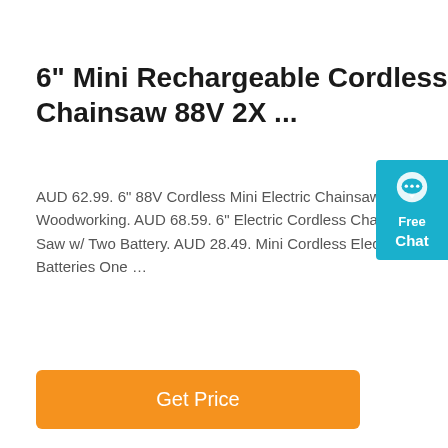6" Mini Rechargeable Cordless Electric Chainsaw 88V 2X ...
AUD 62.99. 6" 88V Cordless Mini Electric Chainsaw Wood Cutter120 One-Hand Saw Woodworking. AUD 68.59. 6" Electric Cordless Chain Cordless Pruning Shears Chain Saw w/ Two Battery. AUD 28.49. Mini Cordless Electric Chainsaw Wood Cutter 2 Batteries One …
[Figure (other): Free Chat widget button in teal/cyan color with chat bubble icon, 'Free' and 'Chat' text labels]